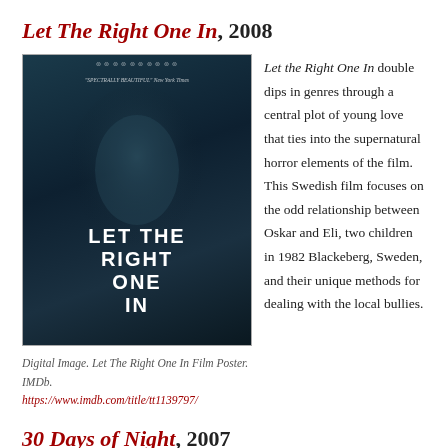Let The Right One In, 2008
[Figure (photo): Movie poster for Let The Right One In showing a pale young girl's face in dark blue tones with the film title text overlaid]
Digital Image. Let The Right One In Film Poster. IMDb. https://www.imdb.com/title/tt1139797/
Let the Right One In double dips in genres through a central plot of young love that ties into the supernatural horror elements of the film. This Swedish film focuses on the odd relationship between Oskar and Eli, two children in 1982 Blackeberg, Sweden, and their unique methods for dealing with the local bullies.
30 Days of Night, 2007